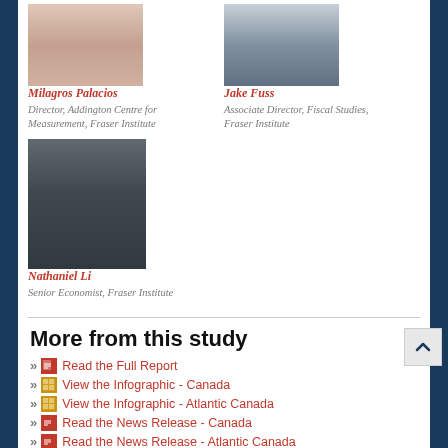[Figure (photo): Headshot photo of Milagros Palacios]
Milagros Palacios
Director, Addington Centre for Measurement, Fraser Institute
[Figure (photo): Headshot photo of Jake Fuss]
Jake Fuss
Associate Director, Fiscal Studies, Fraser Institute
[Figure (photo): Headshot photo of Nathaniel Li]
Nathaniel Li
Senior Economist, Fraser Institute
More from this study
Read the Full Report
View the Infographic - Canada
View the Infographic - Atlantic Canada
Read the News Release - Canada
Read the News Release - Atlantic Canada
Calculate Your Personal Tax Freedom Day